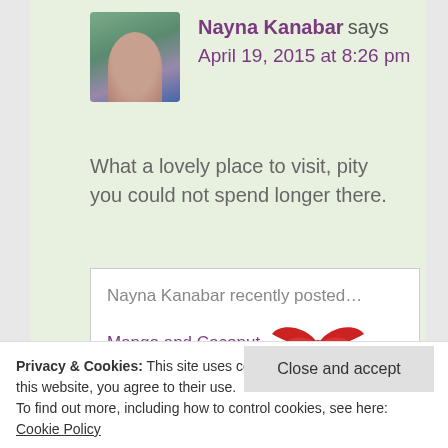Nayna Kanabar says
April 19, 2015 at 8:26 pm
What a lovely place to visit, pity you could not spend longer there.
Nayna Kanabar recently posted…Mango and Coconut Smoothie
[Figure (illustration): Red bird/wings logo icon]
Privacy & Cookies: This site uses cookies. By continuing to use this website, you agree to their use.
To find out more, including how to control cookies, see here: Cookie Policy
Close and accept
Michelle says